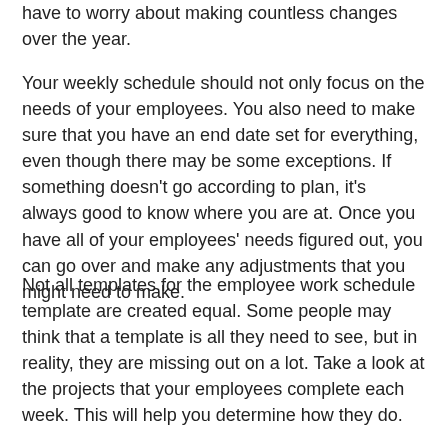have to worry about making countless changes over the year.
Your weekly schedule should not only focus on the needs of your employees. You also need to make sure that you have an end date set for everything, even though there may be some exceptions. If something doesn't go according to plan, it's always good to know where you are at. Once you have all of your employees' needs figured out, you can go over and make any adjustments that you might need to make.
Not all templates for the employee work schedule template are created equal. Some people may think that a template is all they need to see, but in reality, they are missing out on a lot. Take a look at the projects that your employees complete each week. This will help you determine how they do.